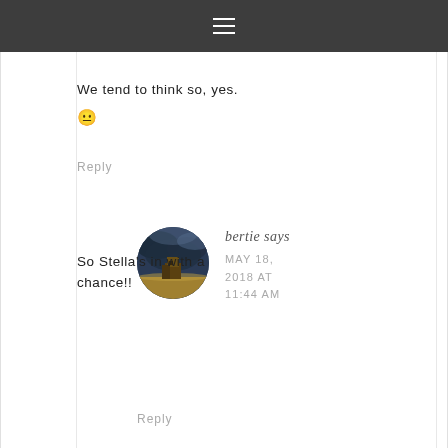[Figure (other): Dark top navigation bar with hamburger menu icon (three horizontal white lines) centered]
We tend to think so, yes.
😐
Reply
[Figure (photo): Circular avatar photo showing a building/castle on a hill under a dramatic dark stormy sky]
bertie says
MAY 18, 2018 AT 11:44 AM
So Stella's in with a chance!!
Reply